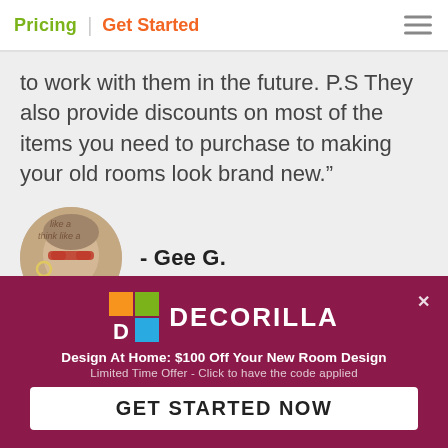Pricing | Get Started
to work with them in the future. P.S They also provide discounts on most of the items you need to purchase to making your old rooms look brand new.”
- Gee G.
[Figure (photo): Circular avatar photo of a person wearing sunglasses with text overlay reading 'like a think like a']
DECORILLA
Design At Home: $100 Off Your New Room Design
Limited Time Offer - Click to have the code applied
GET STARTED NOW